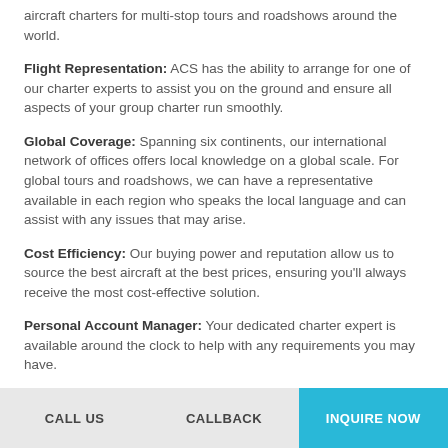aircraft charters for multi-stop tours and roadshows around the world.
Flight Representation: ACS has the ability to arrange for one of our charter experts to assist you on the ground and ensure all aspects of your group charter run smoothly.
Global Coverage: Spanning six continents, our international network of offices offers local knowledge on a global scale. For global tours and roadshows, we can have a representative available in each region who speaks the local language and can assist with any issues that may arise.
Cost Efficiency: Our buying power and reputation allow us to source the best aircraft at the best prices, ensuring you'll always receive the most cost-effective solution.
Personal Account Manager: Your dedicated charter expert is available around the clock to help with any requirements you may have.
CALL US | CALLBACK | INQUIRE NOW